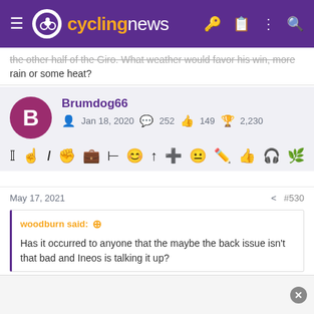cyclingnews
the other half of the GIro. What weather would favor his win, more rain or some heat?
Brumdog66
Jan 18, 2020  252  149  2,230
May 17, 2021  #530
woodburn said: Has it occurred to anyone that the maybe the back issue isn't that bad and Ineos is talking it up?